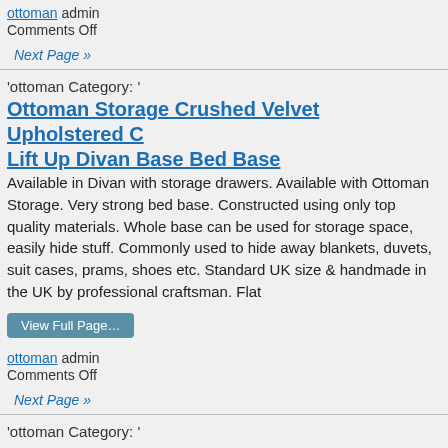ottoman admin
Comments Off
Next Page »
'ottoman Category: '
Ottoman Storage Crushed Velvet Upholstered C Lift Up Divan Base Bed Base
Available in Divan with storage drawers. Available with Ottoman Storage. Very strong bed base. Constructed using only top quality materials. Whole base can be used for storage space, easily hide stuff. Commonly used to hide away blankets, duvets, suit cases, prams, shoes etc. Standard UK size & handmade in the UK by professional craftsman. Flat
View Full Page…
ottoman admin
Comments Off
Next Page »
'ottoman Category: '